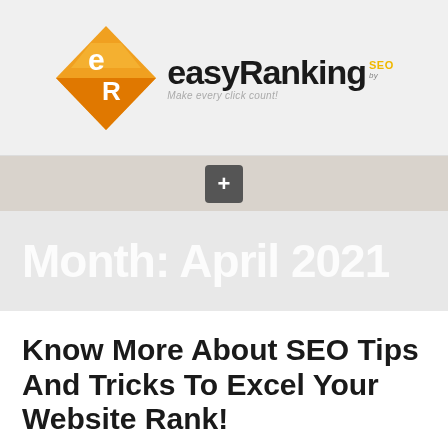[Figure (logo): easyRanking by SEO logo — orange diamond with 'eR' letters and text 'easyRanking by SEO, Make every click count!']
[Figure (other): Dark grey navigation bar with a plus (+) button icon]
Month: April 2021
Know More About SEO Tips And Tricks To Excel Your Website Rank!
People often wonder why they care about SEO, like most of them